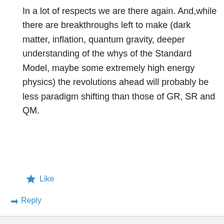In a lot of respects we are there again. And,while there are breakthroughs left to make (dark matter, inflation, quantum gravity, deeper understanding of the whys of the Standard Model, maybe some extremely high energy physics) the revolutions ahead will probably be less paradigm shifting than those of GR, SR and QM.
★ Like
↳ Reply
Tom Andersen on March 12, 2016 at 8:43 am
I would argue that its likely that the opposite is true. Since the SM, Strings,